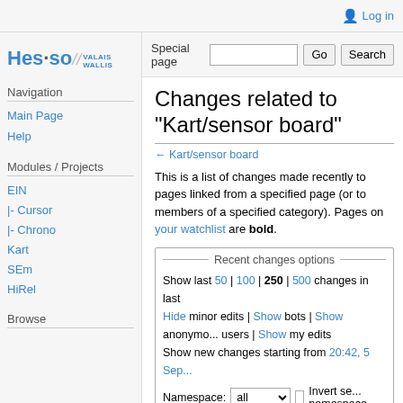Log in
[Figure (logo): Hes-so Valais Wallis logo]
Navigation
Main Page
Help
Modules / Projects
EIN
|- Cursor
|- Chrono
Kart
SEm
HiRel
Browse
Changes related to "Kart/sensor board"
← Kart/sensor board
This is a list of changes made recently to pages linked from a specified page (or to members of a specified category). Pages on your watchlist are bold.
Recent changes options
Show last 50 | 100 | 250 | 500 changes in last
Hide minor edits | Show bots | Show anonymous users | Show my edits
Show new changes starting from 20:42, 5 Sep...
Namespace: all ▾  □ Invert se... namespace
Page name: Kart/sensor board...